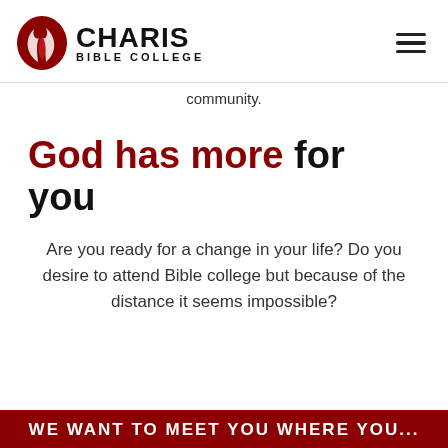[Figure (logo): Charis Bible College logo with flame icon and text]
community.
God has more for you
Are you ready for a change in your life? Do you desire to attend Bible college but because of the distance it seems impossible?
WE WANT TO MEET YOU WHERE YOU...